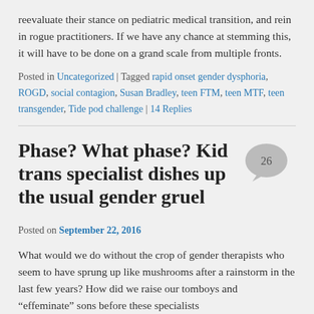reevaluate their stance on pediatric medical transition, and rein in rogue practitioners. If we have any chance at stemming this, it will have to be done on a grand scale from multiple fronts.
Posted in Uncategorized | Tagged rapid onset gender dysphoria, ROGD, social contagion, Susan Bradley, teen FTM, teen MTF, teen transgender, Tide pod challenge | 14 Replies
Phase? What phase? Kid trans specialist dishes up the usual gender gruel
Posted on September 22, 2016
What would we do without the crop of gender therapists who seem to have sprung up like mushrooms after a rainstorm in the last few years? How did we raise our tomboys and “effeminate” sons before these specialists